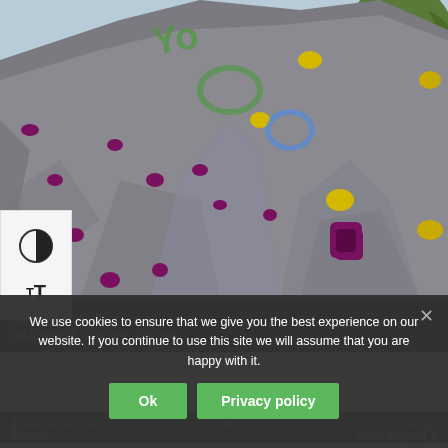[Figure (photo): A climbing wall with coloured holds (purple, yellow, green) on a grey textured surface, viewed from below. Trees visible in top right background.]
Climbing Wall
30 August @ 11:00 am - 4:00 pm
We use cookies to ensure that we give you the best experience on our website. If you continue to use this site we will assume that you are happy with it.
Ok
Privacy policy
< Wild Home Educ...Session   R...   ...ords in Anglo-Saxon England >